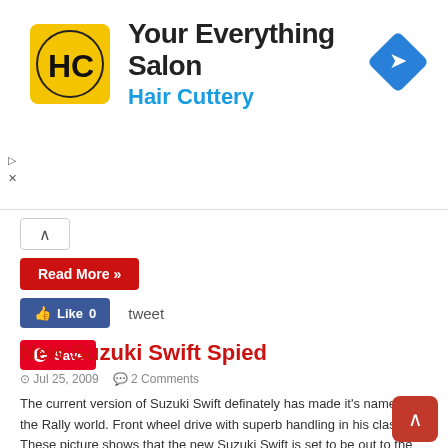[Figure (infographic): Hair Cuttery advertisement banner with yellow HC logo icon, text 'Your Everything Salon' and 'Hair Cuttery' in blue, and a blue navigation/directions diamond icon on the right. Small play and X close icons on the left side.]
Read More »
Like 0   tweet   Save
New Suzuki Swift Spied
Jul 25, 2009   2 Comments
The current version of Suzuki Swift definately has made it's name in the Rally world. Front wheel drive with superb handling in his class. These picture shows that the new Suzuki Swift is set to be out to the market by year 2010 or 2011. The suzuki swift looks slightly bigger as compare to the current model. The model, despite …
Read More »